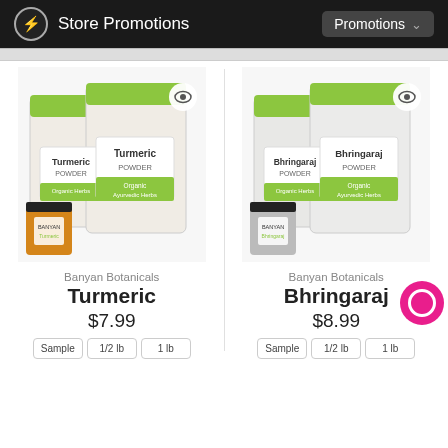Store Promotions | Promotions
[Figure (photo): Banyan Botanicals Turmeric powder product set — small jar and two bags]
Banyan Botanicals
Turmeric
$7.99
[Figure (photo): Banyan Botanicals Bhringaraj powder product set — small jar and two bags]
Banyan Botanicals
Bhringaraj
$8.99